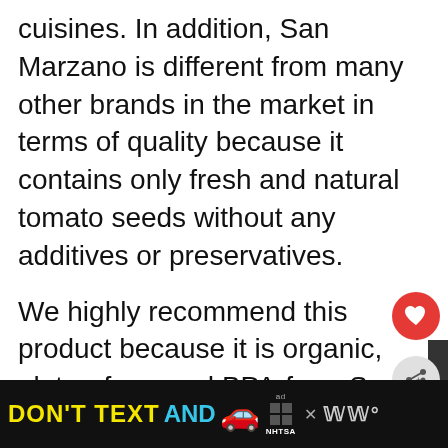cuisines. In addition, San Marzano is different from many other brands in the market in terms of quality because it contains only fresh and natural tomato seeds without any additives or preservatives.
We highly recommend this product because it is organic, gluten-free, and BPA-free. San Marzano ensures that you enjoy the best nutritional benefits that are hygienic to your health. Also, San Marzano is certified by international standards, providing the highest quality tomatoes that add delicious flavors to your recipes.
You will be making the perfect choice for your fa... ...cause it...
[Figure (screenshot): Mobile web UI overlays: a red heart/like button circle, a share button circle, a 'WHAT'S NEXT' promo box showing '5 Best Blenders for...' with a thumbnail, and a bottom ad banner reading 'DON'T TEXT AND [car emoji]' from NHTSA]